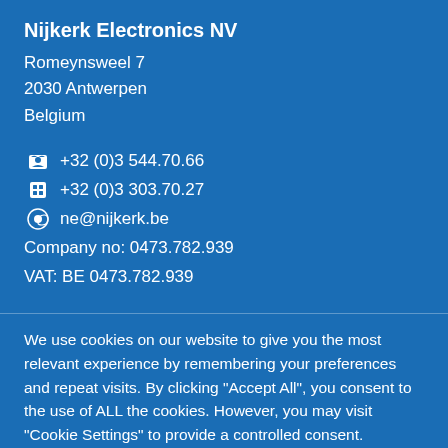Nijkerk Electronics NV
Romeynsweel 7
2030 Antwerpen
Belgium
📞 +32 (0)3 544.70.66
📠 +32 (0)3 303.70.27
@ ne@nijkerk.be
Company no: 0473.782.939
VAT: BE 0473.782.939
We use cookies on our website to give you the most relevant experience by remembering your preferences and repeat visits. By clicking "Accept All", you consent to the use of ALL the cookies. However, you may visit "Cookie Settings" to provide a controlled consent.
Cookie Settings | Accept All | .privacy policy